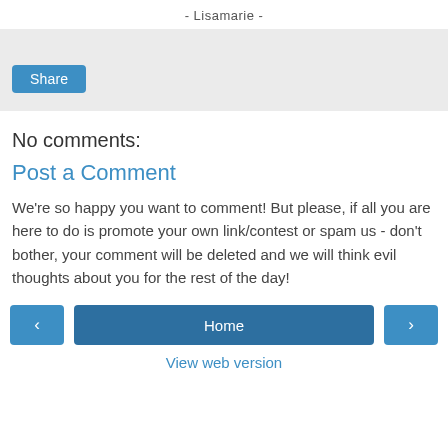- Lisamarie -
[Figure (other): Share button area with light gray background and a blue Share button]
No comments:
Post a Comment
We're so happy you want to comment! But please, if all you are here to do is promote your own link/contest or spam us - don't bother, your comment will be deleted and we will think evil thoughts about you for the rest of the day!
[Figure (other): Navigation row with left arrow button, Home button, and right arrow button]
View web version